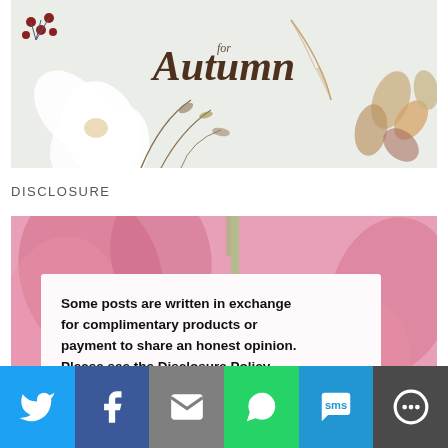[Figure (illustration): Autumn-themed decorative illustration with floral elements, feathers, berries, and stylized text reading 'Autumn' in script font on a light background]
DISCLOSURE
[Figure (photo): Pink floral background with a white card overlay containing bold text: 'Some posts are written in exchange for complimentary products or payment to share an honest opinion. Please see the Disclosure Policy']
[Figure (infographic): Social share bar with buttons for Twitter, Facebook, Email, WhatsApp, SMS, and More]